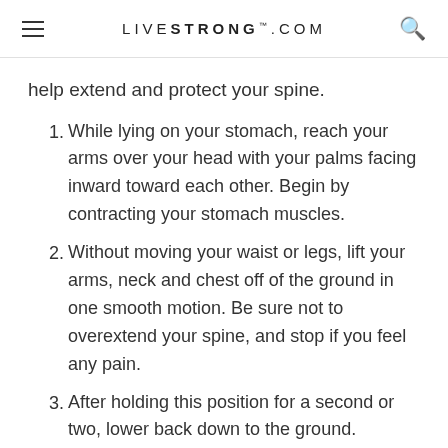LIVESTRONG.COM
help extend and protect your spine.
While lying on your stomach, reach your arms over your head with your palms facing inward toward each other. Begin by contracting your stomach muscles.
Without moving your waist or legs, lift your arms, neck and chest off of the ground in one smooth motion. Be sure not to overextend your spine, and stop if you feel any pain.
After holding this position for a second or two, lower back down to the ground.
Repeat three sets of 10 to 15 repetitions of